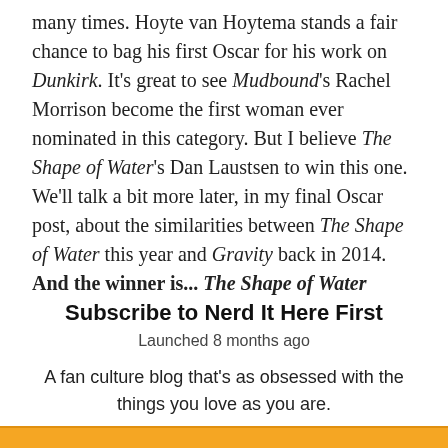many times. Hoyte van Hoytema stands a fair chance to bag his first Oscar for his work on Dunkirk. It's great to see Mudbound's Rachel Morrison become the first woman ever nominated in this category. But I believe The Shape of Water's Dan Laustsen to win this one. We'll talk a bit more later, in my final Oscar post, about the similarities between The Shape of Water this year and Gravity back in 2014. And the winner is... The Shape of Water
Subscribe to Nerd It Here First
Launched 8 months ago
A fan culture blog that's as obsessed with the things you love as you are.